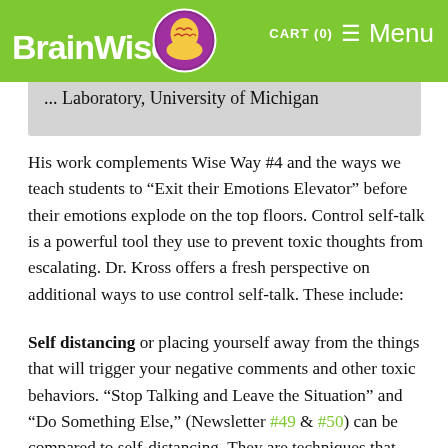BrainWise — CART (0) Menu
[Figure (screenshot): Partially visible text: '...Laboratory, University of Michigan' in a grey box, with the BrainWise logo and navigation header overlaid on top.]
His work complements Wise Way #4 and the ways we teach students to “Exit their Emotions Elevator” before their emotions explode on the top floors. Control self-talk is a powerful tool they use to prevent toxic thoughts from escalating. Dr. Kross offers a fresh perspective on additional ways to use control self-talk. These include:
Self distancing or placing yourself away from the things that will trigger your negative comments and other toxic behaviors. “Stop Talking and Leave the Situation” and “Do Something Else,” (Newsletter #49 & #50) can be compared to self-distancing. They are techniques that help students